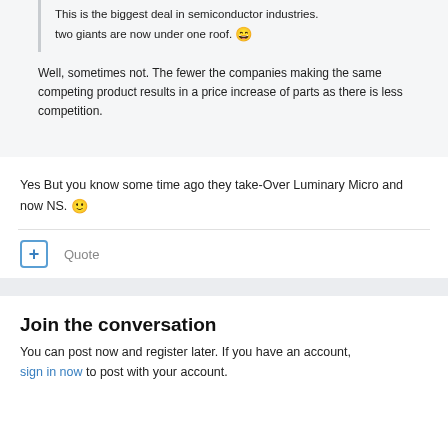This is the biggest deal in semiconductor industries. two giants are now under one roof. 😄
Well, sometimes not. The fewer the companies making the same competing product results in a price increase of parts as there is less competition.
Yes But you know some time ago they take-Over Luminary Micro and now NS. 🙂
Quote
Join the conversation
You can post now and register later. If you have an account, sign in now to post with your account.